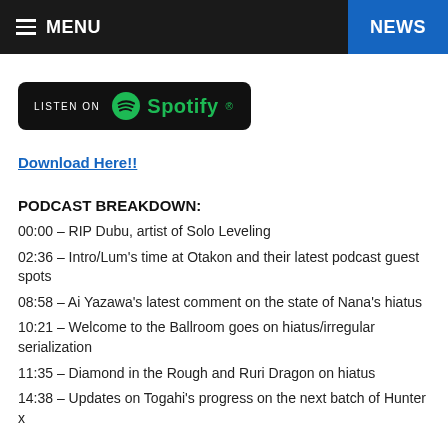MENU   NEWS
[Figure (logo): Listen on Spotify badge]
Download Here!!
PODCAST BREAKDOWN:
00:00 – RIP Dubu, artist of Solo Leveling
02:36 – Intro/Lum's time at Otakon and their latest podcast guest spots
08:58 – Ai Yazawa's latest comment on the state of Nana's hiatus
10:21 – Welcome to the Ballroom goes on hiatus/irregular serialization
11:35 – Diamond in the Rough and Ruri Dragon on hiatus
14:38 – Updates on Togahi's progress on the next batch of Hunter x